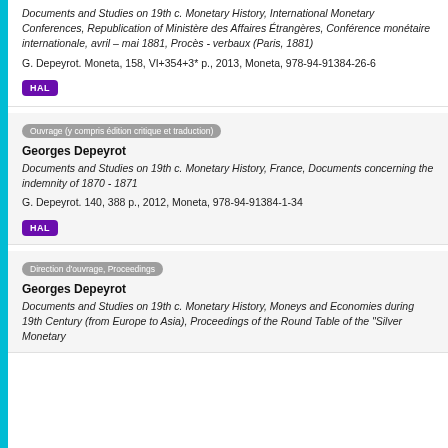Documents and Studies on 19th c. Monetary History, International Monetary Conferences, Republication of Ministère des Affaires Étrangères, Conférence monétaire internationale, avril – mai 1881, Procès - verbaux (Paris, 1881) G. Depeyrot. Moneta, 158, VI+354+3* p., 2013, Moneta, 978-94-91384-26-6
HAL
Ouvrage (y compris édition critique et traduction)
Georges Depeyrot
Documents and Studies on 19th c. Monetary History, France, Documents concerning the indemnity of 1870 - 1871
G. Depeyrot. 140, 388 p., 2012, Moneta, 978-94-91384-1-34
HAL
Direction d'ouvrage, Proceedings
Georges Depeyrot
Documents and Studies on 19th c. Monetary History, Moneys and Economies during 19th Century (from Europe to Asia), Proceedings of the Round Table of the "Silver Monetary